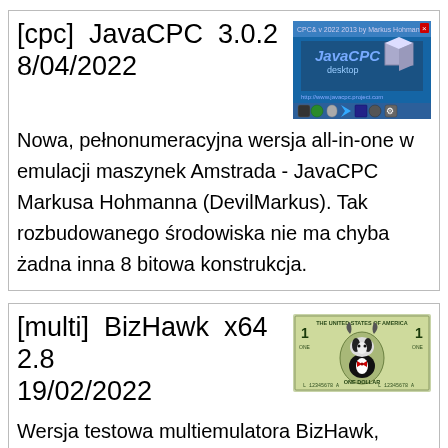[cpc]  JavaCPC  3.0.2
8/04/2022
[Figure (screenshot): JavaCPC desktop emulator screenshot showing the JavaCPC logo on a blue background with toolbar icons at the bottom]
Nowa, pełnonumeracyjna wersja all-in-one w emulacji maszynek Amstrada - JavaCPC Markusa Hohmanna (DevilMarkus). Tak rozbudowanego środowiska nie ma chyba żadna inna 8 bitowa konstrukcja.
[multi]  BizHawk  x64  2.8
19/02/2022
[Figure (screenshot): BizHawk logo shown on a dollar bill style image - one dollar note with a hawk/badger mascot in a tuxedo in the center]
Wersja testowa multiemulatora BizHawk, specjalnie dla osób chcących sprawdzić i wspomóc projekt. Ten napisany w C# multiemulator pozwala udawać konsole: Nintendo Entertainment